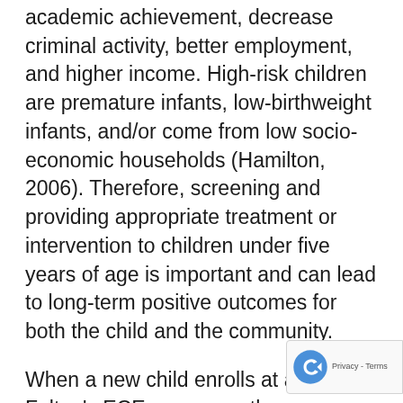academic achievement, decrease criminal activity, better employment, and higher income. High-risk children are premature infants, low-birthweight infants, and/or come from low socio-economic households (Hamilton, 2006). Therefore, screening and providing appropriate treatment or intervention to children under five years of age is important and can lead to long-term positive outcomes for both the child and the community.
When a new child enrolls at any of Felton's ECE programs, the admissions team will complete the ASQ-3 and ASQ-SE with the family within 30 days of enrollment, or when a child who is currently in the program turns ...